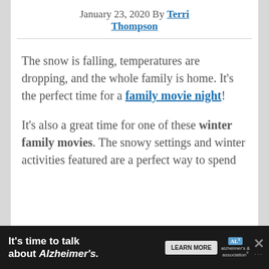January 23, 2020 By Terri Thompson
The snow is falling, temperatures are dropping, and the whole family is home. It’s the perfect time for a family movie night!
It’s also a great time for one of these winter family movies. The snowy settings and winter activities featured are a perfect way to spend
[Figure (infographic): Advertisement banner: dark background with text 'It’s time to talk about Alzheimer’s.' and a LEARN MORE button plus Alzheimer’s Association logo and close button.]